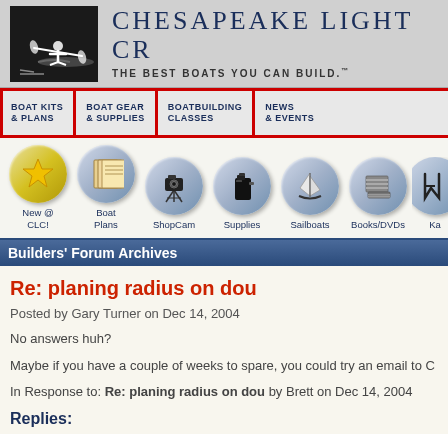[Figure (logo): Chesapeake Light Craft logo with silhouette of person in kayak on black background, beside site title 'Chesapeake Light Cr' and tagline 'The Best Boats You Can Build.']
BOAT KITS & PLANS | BOAT GEAR & SUPPLIES | BOATBUILDING CLASSES | NEWS & EVENTS
[Figure (infographic): Icon navigation row: New @ CLC! (gold star oval), Boat Plans (booklets oval), ShopCam (camera oval), Supplies (jug oval), Sailboats (sailboat oval), Books/DVDs (books oval), Ka... (partial)]
Builders' Forum Archives
Re: planing radius on dou
Posted by Gary Turner on Dec 14, 2004
No answers huh?
Maybe if you have a couple of weeks to spare, you could try an email to C
In Response to: Re: planing radius on dou by Brett on Dec 14, 2004
Replies: